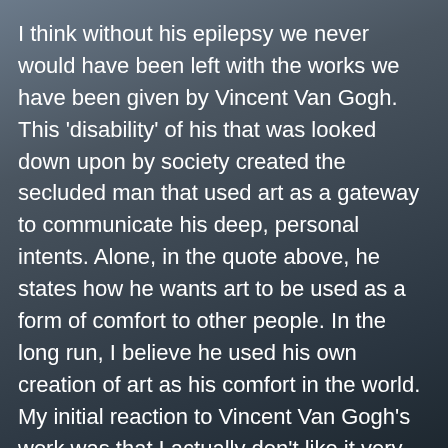I think without his epilepsy we never would have been left with the works we have been given by Vincent Van Gogh. This 'disability' of his that was looked down upon by society created the secluded man that used art as a gateway to communicate his deep, personal intents. Alone, in the quote above, he states how he wants art to be used as a form of comfort to other people. In the long run, I believe he used his own creation of art as his comfort in the world.
My initial reaction to Vincent Van Gogh's work was that I actually don't like it very much. I know many people will be outraged that I have said this, but I was lucky enough to go to the Vincent Van Gogh museum in Amsterdam. As a young student and aspiring artist, I feel society told me to like Van Gogh. I found it most surprising when I went to see his work in person, at how much I didn't actually care, conceptually for his work. I can however appreciate the progression of his work. He really was not very good at